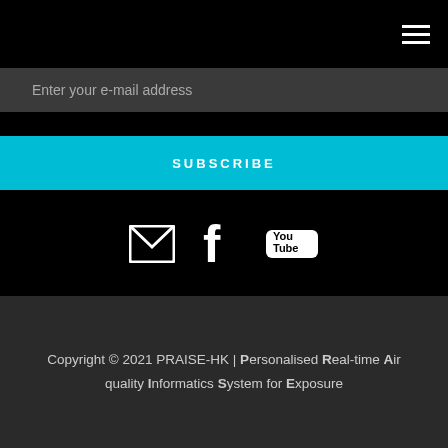[Figure (other): Hamburger menu icon (three horizontal lines) in top right corner]
Enter your e-mail address
SUBSCRIBE
[Figure (other): Social media icons: email envelope, Facebook f, YouTube logo]
Copyright © 2021 PRAISE-HK | Personalised Real-time Air quality Informatics System for Exposure